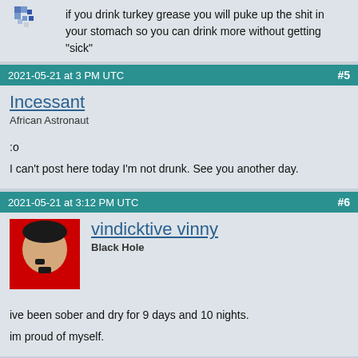[Figure (illustration): Small pixel art avatar icon in blue/gray tones, top-left corner]
if you drink turkey grease you will puke up the shit in your stomach so you can drink more without getting "sick"
2021-05-21 at 3 PM UTC   #5
Incessant
African Astronaut
:o
I can't post here today I'm not drunk. See you another day.
2021-05-21 at 3:12 PM UTC   #6
[Figure (photo): Avatar: face on red background]
vindicktive vinny
Black Hole
ive been sober and dry for 9 days and 10 nights.

im proud of myself.
2021-05-29 at 7:49 AM UTC   #7